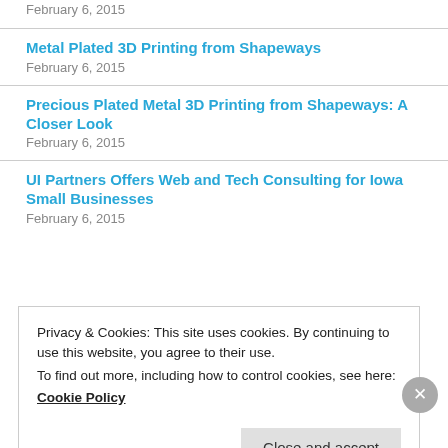February 6, 2015
Metal Plated 3D Printing from Shapeways
February 6, 2015
Precious Plated Metal 3D Printing from Shapeways: A Closer Look
February 6, 2015
UI Partners Offers Web and Tech Consulting for Iowa Small Businesses
February 6, 2015
Privacy & Cookies: This site uses cookies. By continuing to use this website, you agree to their use.
To find out more, including how to control cookies, see here:
Cookie Policy
Close and accept